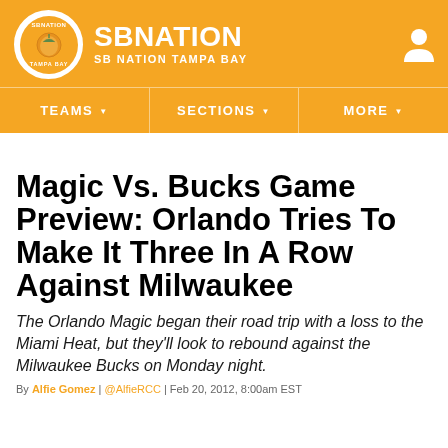SB NATION / SB NATION TAMPA BAY
TEAMS | SECTIONS | MORE
Magic Vs. Bucks Game Preview: Orlando Tries To Make It Three In A Row Against Milwaukee
The Orlando Magic began their road trip with a loss to the Miami Heat, but they'll look to rebound against the Milwaukee Bucks on Monday night.
By Alfie Gomez | @AlfieRCC | Feb 20, 2012, 8:00am EST